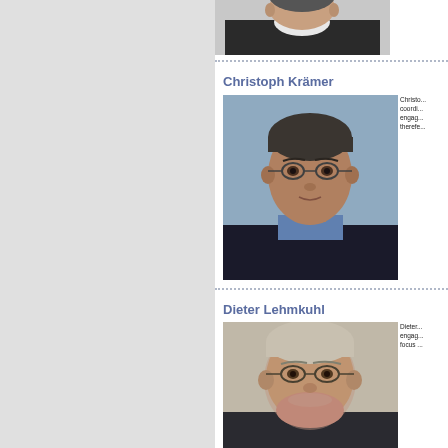[Figure (photo): Top photo - partial view of a person in dark jacket and white shirt, cropped at top of page]
Christoph Krämer
[Figure (photo): Headshot of Christoph Krämer, a man with glasses and dark hair, wearing a dark jacket over a blue shirt, against a blue background]
Christo... coordi... engag... therefe...
Dieter Lehmkuhl
[Figure (photo): Headshot of Dieter Lehmkuhl, an older man with glasses and grey-reddish beard, partially visible]
Dieter... engag... focus ...